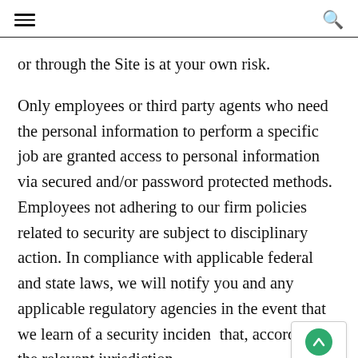[hamburger menu] [search icon]
or through the Site is at your own risk.
Only employees or third party agents who need the personal information to perform a specific job are granted access to personal information via secured and/or password protected methods. Employees not adhering to our firm policies related to security are subject to disciplinary action. In compliance with applicable federal and state laws, we will notify you and any applicable regulatory agencies in the event that we learn of a security incident that, according to the relevant jurisdiction,